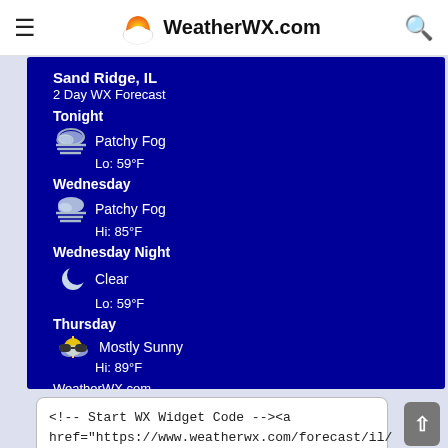WeatherWX.com
[Figure (screenshot): WeatherWX.com weather widget showing 2-day forecast for Sand Ridge, IL on a dark blue background. Shows Tonight: Patchy Fog Lo: 59°F, Wednesday: Patchy Fog Hi: 85°F, Wednesday Night: Clear Lo: 59°F, Thursday: Mostly Sunny Hi: 89°F, WeatherWX.com footer.]
<!-- Start WX Widget Code --><a href="https://www.weatherwx.com/forecast/il/